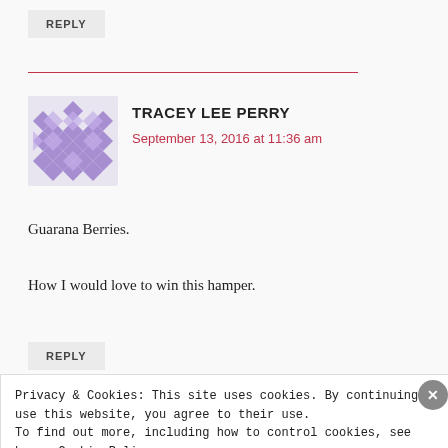REPLY
[Figure (illustration): Purple/lavender geometric quilt pattern avatar for Tracey Lee Perry]
TRACEY LEE PERRY
September 13, 2016 at 11:36 am
Guarana Berries.
How I would love to win this hamper.
REPLY
Privacy & Cookies: This site uses cookies. By continuing to use this website, you agree to their use.
To find out more, including how to control cookies, see here: Cookie Policy
Close and accept